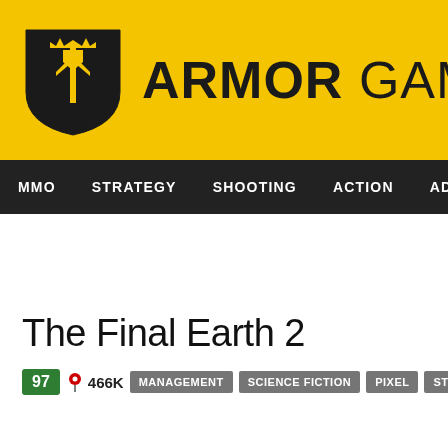[Figure (logo): Armor Games logo with yellow background, shield icon with trident/sword, and bold ARMOR GAMES text]
MMO  STRATEGY  SHOOTING  ACTION  ADVENTURE  P
The Final Earth 2
97  466K  MANAGEMENT  SCIENCE FICTION  PIXEL  STRATEGY  CITY